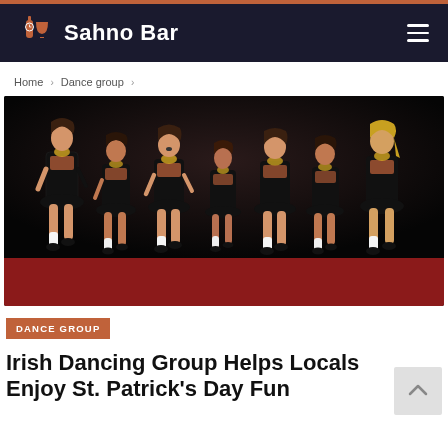Sahno Bar
Home > Dance group >
[Figure (photo): Seven young women in black Irish dance costumes with colorful embroidered details performing on a stage with a red floor and dark background]
DANCE GROUP
Irish Dancing Group Helps Locals Enjoy St. Patrick's Day Fun